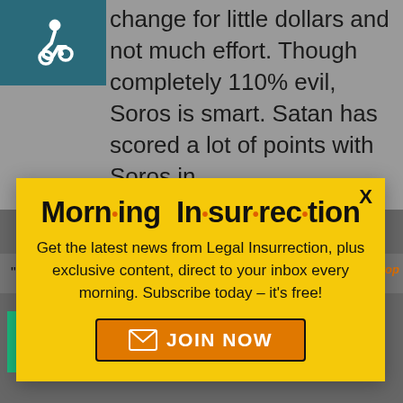[Figure (screenshot): Wheelchair accessibility icon in teal box]
change for little dollars and not much effort. Though completely 110% evil, Soros is smart. Satan has scored a lot of points with Soros in
[Figure (infographic): Morning Insurrection newsletter popup modal with yellow background, title 'Morn·ing In·sur·rec·tion', subscription text and JOIN NOW button]
"" Not go to faun over him
[Figure (screenshot): Small white X close button overlay]
[Figure (infographic): Fiverr advertisement banner: Working from home? Get your projects done on fiverr]